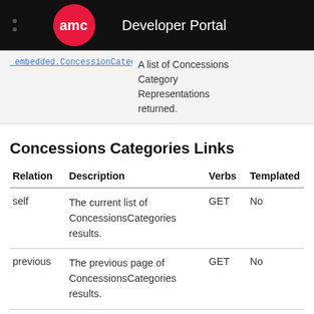AMC Developer Portal
_embedded.ConcessionCategories – A list of Concessions Category Representations returned.
Concessions Categories Links
| Relation | Description | Verbs | Templated |
| --- | --- | --- | --- |
| self | The current list of ConcessionsCategories results. | GET | No |
| previous | The previous page of ConcessionsCategories results. | GET | No |
| next | The next page of ConcessionsCategories | GET | No |